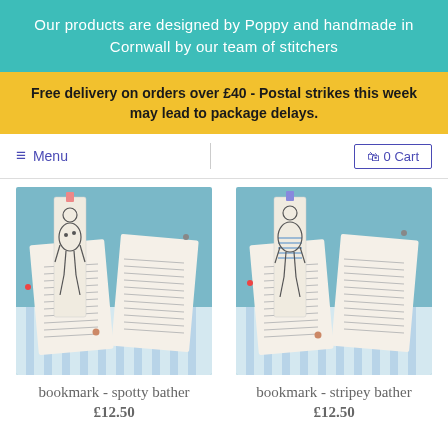Our products are designed by Poppy and handmade in Cornwall by our team of stitchers
Free delivery on orders over £40 - Postal strikes this week may lead to package delays.
≡ Menu
🛍 0 Cart
[Figure (photo): Fabric bookmark with hand-embroidered spotty bather figure placed in an open book, on a blue striped background]
bookmark - spotty bather
£12.50
[Figure (photo): Fabric bookmark with hand-embroidered stripey bather figure placed in an open book, on a blue striped background]
bookmark - stripey bather
£12.50